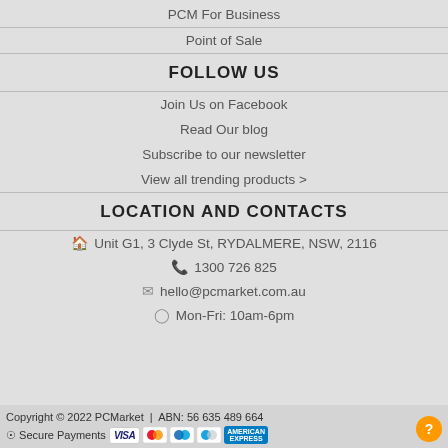PCM For Business
Point of Sale
FOLLOW US
Join Us on Facebook
Read Our blog
Subscribe to our newsletter
View all trending products >
LOCATION AND CONTACTS
Unit G1, 3 Clyde St, RYDALMERE, NSW, 2116
1300 726 825
hello@pcmarket.com.au
Mon-Fri: 10am-6pm
Copyright © 2022 PCMarket | ABN: 56 635 489 664
Secure Payments [VISA] [Mastercard] [Maestro] [Cirrus] [American Express]